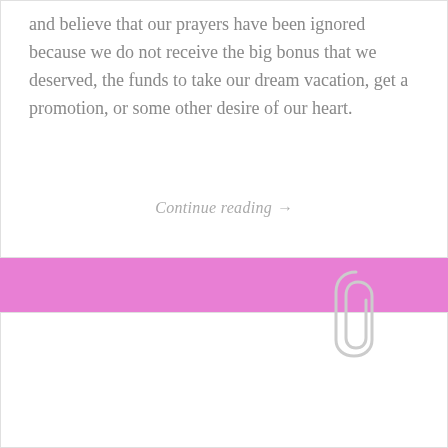and believe that our prayers have been ignored because we do not receive the big bonus that we deserved, the funds to take our dream vacation, get a promotion, or some other desire of our heart.
Continue reading →
[Figure (photo): Black and white photograph of a polar bear bowing down with its hindquarters raised, resting its head on stone steps. The bear appears to be stretching or bowing in a yoga-like pose.]